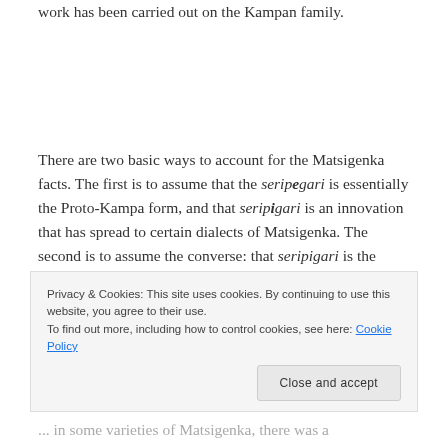work has been carried out on the Kampan family.
There are two basic ways to account for the Matsigenka facts. The first is to assume that the seripegari is essentially the Proto-Kampa form, and that seripigari is an innovation that has spread to certain dialects of Matsigenka. The second is to assume the converse: that seripigari is the original form and that seripegari is the innovation.
Privacy & Cookies: This site uses cookies. By continuing to use this website, you agree to their use.
To find out more, including how to control cookies, see here: Cookie Policy
Close and accept
... in some varieties of Matsigenka, there was a